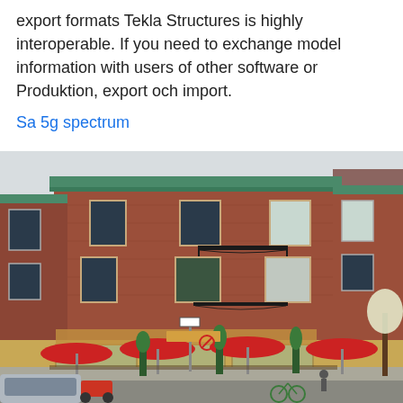export formats Tekla Structures is highly interoperable. If you need to exchange model information with users of other software or Produktion, export och import.
Sa 5g spectrum
[Figure (photo): A red brick corner building with multiple floors, green copper roof trim, and a street-level restaurant/cafe with red Bud Light umbrellas over outdoor seating. People, bicycles, a scooter, and a car are visible on the street.]